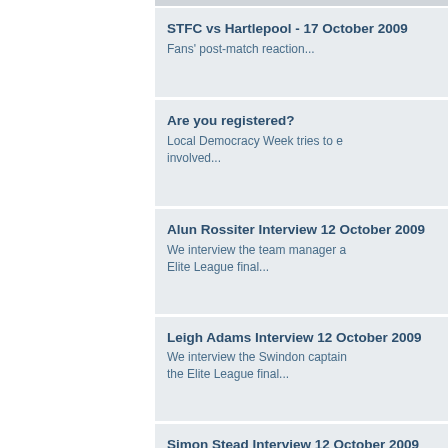STFC vs Hartlepool - 17 October 2009
Fans' post-match reaction...
Are you registered?
Local Democracy Week tries to e... involved...
Alun Rossiter Interview 12 October 2009
We interview the team manager a... Elite League final...
Leigh Adams Interview 12 October 2009
We interview the Swindon captain... the Elite League final...
Simon Stead Interview 12 October 2009